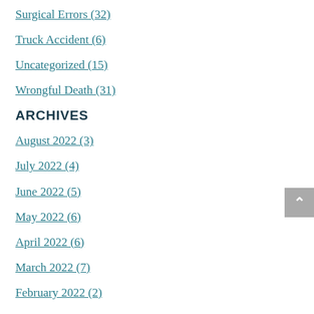Surgical Errors (32)
Truck Accident (6)
Uncategorized (15)
Wrongful Death (31)
ARCHIVES
August 2022 (3)
July 2022 (4)
June 2022 (5)
May 2022 (6)
April 2022 (6)
March 2022 (7)
February 2022 (2)